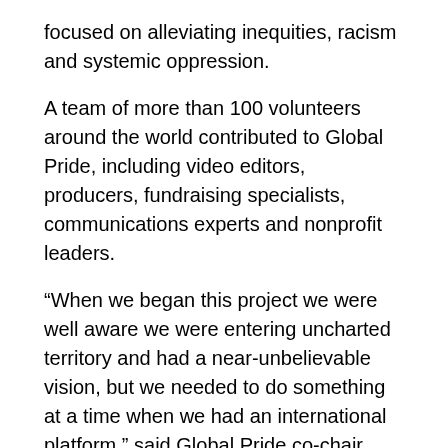focused on alleviating inequities, racism and systemic oppression.
A team of more than 100 volunteers around the world contributed to Global Pride, including video editors, producers, fundraising specialists, communications experts and nonprofit leaders.
“When we began this project we were well aware we were entering uncharted territory and had a near-unbelievable vision, but we needed to do something at a time when we had an international platform,” said Global Pride co-chair Natalie Thompson in a press release. “Global Pride 2020 gave us an opportunity to allow Prides worldwide (to) tell their own stories to the